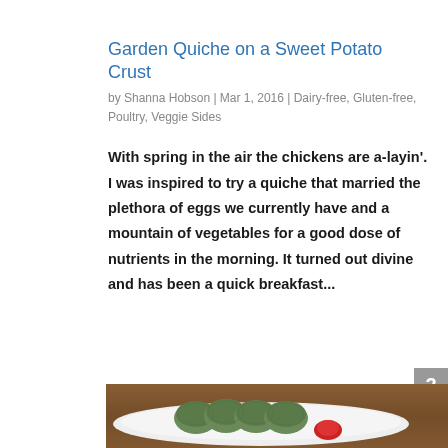Garden Quiche on a Sweet Potato Crust
by Shanna Hobson | Mar 1, 2016 | Dairy-free, Gluten-free, Poultry, Veggie Sides
With spring in the air the chickens are a-layin'. I was inspired to try a quiche that married the plethora of eggs we currently have and a mountain of vegetables for a good dose of nutrients in the morning. It turned out divine and has been a quick breakfast...
[Figure (photo): Photo of green food items (possibly quiche bites) on a white plate with red sauce, placed on a wooden table surface]